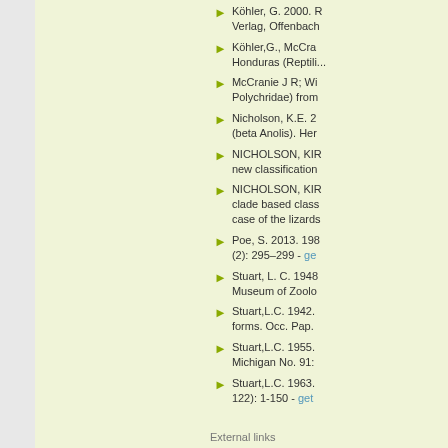Köhler, G. 2000. R... Verlag, Offenbach
Köhler,G., McCra... Honduras (Reptili...
McCranie J R; Wi... Polychridae) from...
Nicholson, K.E. 2... (beta Anolis). Her...
NICHOLSON, KIR... new classification...
NICHOLSON, KIR... clade based class... case of the lizards...
Poe, S. 2013. 198... (2): 295–299 - get...
Stuart, L. C. 1948... Museum of Zoolo...
Stuart,L.C. 1942. ... forms. Occ. Pap. ...
Stuart,L.C. 1955. ... Michigan No. 91:...
Stuart,L.C. 1963. ... 122): 1-150 - get...
External links